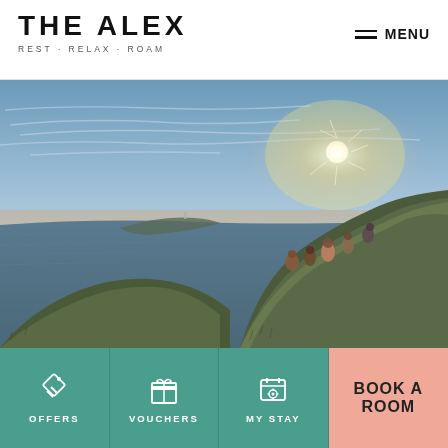THE ALEX
REST · RELAX · ROAM
MENU
[Figure (photo): Scenic coastal cliffs at sunset with a group of people sitting on the hillside overlooking the ocean and a distant headland]
OFFERS
VOUCHERS
MY STAY
BOOK A ROOM